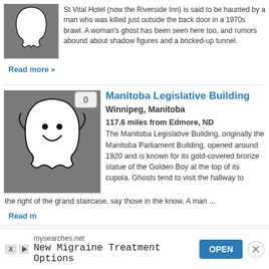[Figure (illustration): Ghost illustration on grey background - dripping ghost shape in white on dark grey]
St Vital Hotel (now the Riverside Inn) is said to be haunted by a man who was killed just outside the back door in a 1970s brawl. A woman's ghost has been seen here too, and rumors abound about shadow figures and a bricked-up tunnel.
Read more »
[Figure (illustration): Cartoon friendly ghost illustration on grey background - white ghost with smiley face and arms raised]
Manitoba Legislative Building
Winnipeg, Manitoba
117.6 miles from Edmore, ND
The Manitoba Legislative Building, originally the Manitoba Parliament Building, opened around 1920 and is known for its gold-covered bronze statue of the Golden Boy at the top of its cupola. Ghosts tend to visit the hallway to the right of the grand staircase, say those in the know. A man ...
Read m
[Figure (infographic): Advertisement banner: mysearches.net - New Migraine Treatment Options - OPEN button]